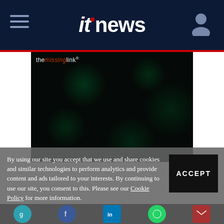itnews
[Figure (photo): Dark background image with themissinglink logo text and bokeh light circles]
By using our site you accept that we use and share cookies and similar technologies to perform analytics and provide content and ads tailored to your interests. By continuing to use our site, you consent to this. Please see our Cookie Policy for more information.